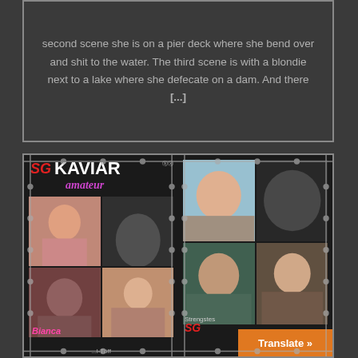second scene she is on a pier deck where she bend over and shit to the water. The third scene is with a blondie next to a lake where she defecate on a dam. And there [...]
[Figure (photo): DVD/VHS cover for 'SG Kaviar Amateur' featuring performer Bianca, with multiple explicit adult content photo panels arranged in a grid with barbed wire border design. Left half shows front cover with title and photos; right half shows back cover with additional photos, scroll-up button, 'Strengstes' label, SG logo, and 'Translate' button.]